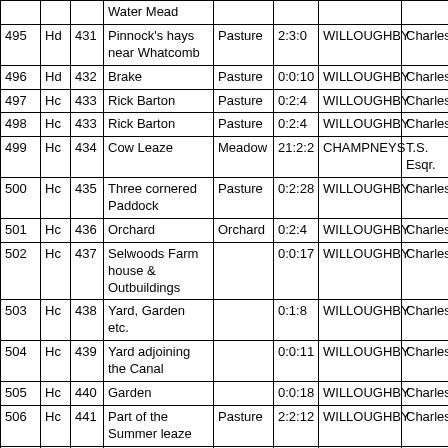|  |  |  | Water Mead |  |  |  |  |
| --- | --- | --- | --- | --- | --- | --- | --- |
| 495 | Hd | 431 | Pinnock's hays near Whatcomb | Pasture | 2:3:0 | WILLOUGHBY | Charles |
| 496 | Hd | 432 | Brake | Pasture | 0:0:10 | WILLOUGHBY | Charles |
| 497 | Hc | 433 | Rick Barton | Pasture | 0:2:4 | WILLOUGHBY | Charles |
| 498 | Hc | 433 | Rick Barton | Pasture | 0:2:4 | WILLOUGHBY | Charles |
| 499 | Hc | 434 | Cow Leaze | Meadow | 21:2:2 | CHAMPNEYS | T.S. Esqr. |
| 500 | Hc | 435 | Three cornered Paddock | Pasture | 0:2:28 | WILLOUGHBY | Charles |
| 501 | Hc | 436 | Orchard | Orchard | 0:2:4 | WILLOUGHBY | Charles |
| 502 | Hc | 437 | Selwoods Farm house & Outbuildings |  | 0:0:17 | WILLOUGHBY | Charles |
| 503 | Hc | 438 | Yard, Garden etc. |  | 0:1:8 | WILLOUGHBY | Charles |
| 504 | Hc | 439 | Yard adjoining the Canal |  | 0:0:11 | WILLOUGHBY | Charles |
| 505 | Hc | 440 | Garden |  | 0:0:18 | WILLOUGHBY | Charles |
| 506 | Hc | 441 | Part of the Summer leaze | Pasture | 2:2:12 | WILLOUGHBY | Charles |
| 507 | Hc | 442 | Part of the Summer | Pasture | 0:1:13 | WILLOUGHBY | Charles |